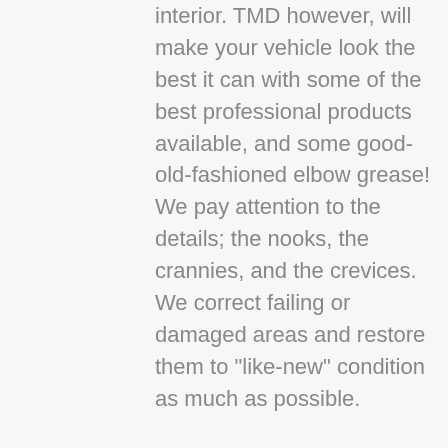interior. TMD however, will make your vehicle look the best it can with some of the best professional products available, and some good-old-fashioned elbow grease! We pay attention to the details; the nooks, the crannies, and the crevices. We correct failing or damaged areas and restore them to "like-new" condition as much as possible.
Especially now, our work is focused on leaving all surfaces not just clean, but sanitary! The protectants we use have a high durability and longevity rating, meaning they